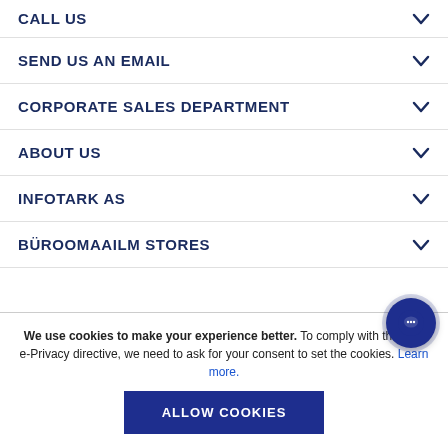CALL US
SEND US AN EMAIL
CORPORATE SALES DEPARTMENT
ABOUT US
INFOTARK AS
BÜROOMAAILM STORES
We use cookies to make your experience better. To comply with the new e-Privacy directive, we need to ask for your consent to set the cookies. Learn more.
ALLOW COOKIES